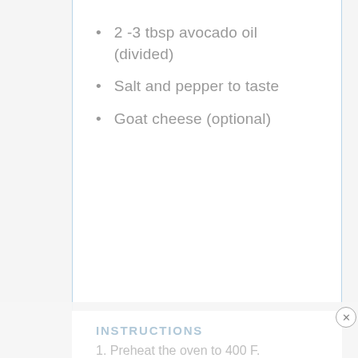2 -3 tbsp avocado oil (divided)
Salt and pepper to taste
Goat cheese (optional)
INSTRUCTIONS
1. Preheat the oven to 400 F.